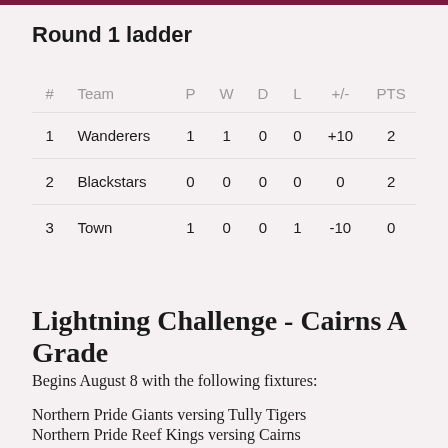Round 1 ladder
| # | Team | P | W | D | L | +/- | PTS |
| --- | --- | --- | --- | --- | --- | --- | --- |
| 1 | Wanderers | 1 | 1 | 0 | 0 | +10 | 2 |
| 2 | Blackstars | 0 | 0 | 0 | 0 | 0 | 2 |
| 3 | Town | 1 | 0 | 0 | 1 | -10 | 0 |
Lightning Challenge - Cairns A Grade
Begins August 8 with the following fixtures:
Northern Pride Giants versing Tully Tigers
Northern Pride Reef Kings versing Cairns...